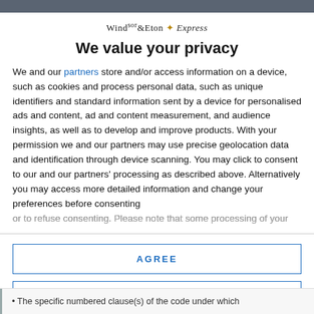Windsor & Eton Express
We value your privacy
We and our partners store and/or access information on a device, such as cookies and process personal data, such as unique identifiers and standard information sent by a device for personalised ads and content, ad and content measurement, and audience insights, as well as to develop and improve products. With your permission we and our partners may use precise geolocation data and identification through device scanning. You may click to consent to our and our partners' processing as described above. Alternatively you may access more detailed information and change your preferences before consenting or to refuse consenting. Please note that some processing of your
AGREE
MORE OPTIONS
The specific numbered clause(s) of the code under which